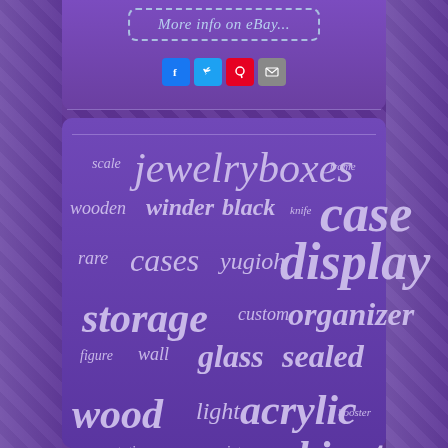[Figure (screenshot): eBay button with dashed border and social media icons (Facebook, Twitter, Pinterest, Email)]
[Figure (infographic): Tag cloud on purple background with words: scale, jewelry, boxes, frame, wooden, winder, black, knife, case, rare, cases, yugioh, display, storage, custom, organizer, figure, wall, glass, sealed, wood, light, acrylic, booster, presentation, vintage, cabinet, shadow, pokemon]